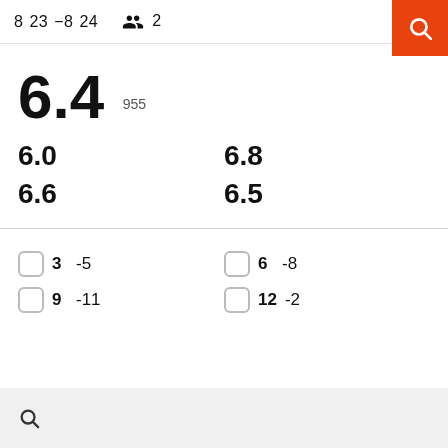8  23  −8  24     2
6.4   955
6.0    6.8
6.6    6.5
3  -5
9  -11
6  -8
12  -2
Search